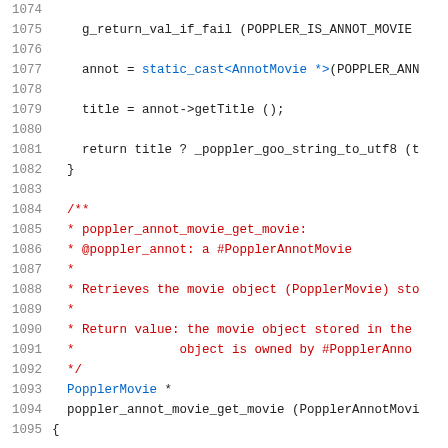Source code listing, lines 1074-1094, showing C++ code for poppler annotation movie functions including g_return_val_if_fail, static_cast, annot->getTitle(), and a Doxygen comment block for poppler_annot_movie_get_movie function.